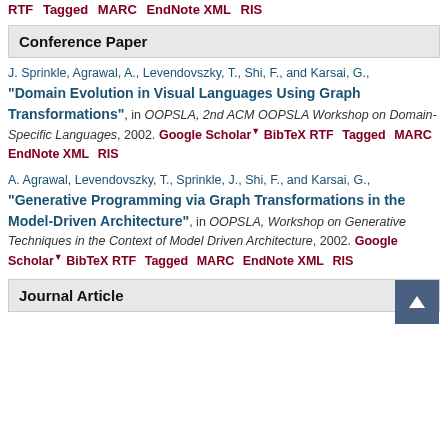RTF Tagged MARC EndNote XML RIS
Conference Paper
J. Sprinkle, Agrawal, A., Levendovszky, T., Shi, F., and Karsai, G., "Domain Evolution in Visual Languages Using Graph Transformations", in OOPSLA, 2nd ACM OOPSLA Workshop on Domain-Specific Languages, 2002. Google Scholar BibTeX RTF Tagged MARC EndNote XML RIS
A. Agrawal, Levendovszky, T., Sprinkle, J., Shi, F., and Karsai, G., "Generative Programming via Graph Transformations in the Model-Driven Architecture", in OOPSLA, Workshop on Generative Techniques in the Context of Model Driven Architecture, 2002. Google Scholar BibTeX RTF Tagged MARC EndNote XML RIS
Journal Article